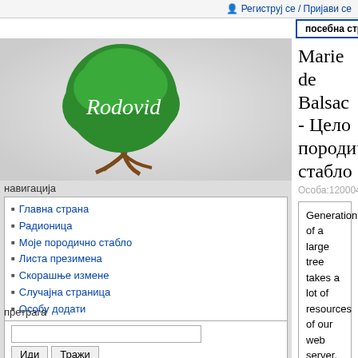Региструј се / Пријави се
посебна страница | ћирилица | latinica
[Figure (logo): Rodovid green tree logo with brown trunk and roots on grey background]
навигација
Главна страна
Радионица
Моје породично стабло
Листа презимена
Скорашње измене
Случајна страница
Особу додати
Помоћ
претрага
алати
Пошаљи фајл
Marie de Balsac - Цело породично стабло
Особа:1200040
Generation of a large tree takes a lot of resources of our web server. Anonymous users can only see 7 generations of ancestors and 7 - of descendants on the full tree to decrease server loading by search engines. If you wish to see a full tree without registration, add text ? showfulltree=yes directly to the end of URL of this page. Please, don't use direct link to a full tree anywhere else.
This tree contains: 28 families with 76 people in 29 lineages, 48 of these people are blood relatives; 5 families with 5 people are hidden.
[Figure (other): Family tree diagram showing numbered columns 1, 2 and partially visible 3, with nodes: Elbes III de C (pink/salmon), de Gouzon (blue), André de Cha (pink), Elbe (pink, partially visible)]